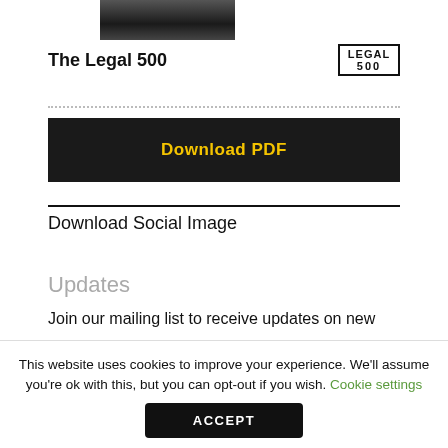[Figure (photo): Partial photo of a man in a suit with a tie, cropped at top of page]
The Legal 500
[Figure (logo): The Legal 500 logo in a bordered box with 'LEGAL' and '500' text]
Download PDF
Download Social Image
Updates
Join our mailing list to receive updates on new
This website uses cookies to improve your experience. We'll assume you're ok with this, but you can opt-out if you wish. Cookie settings
ACCEPT